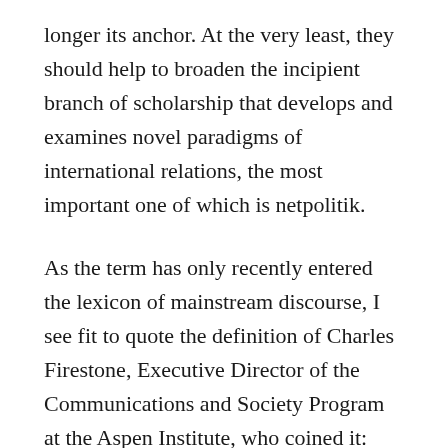longer its anchor. At the very least, they should help to broaden the incipient branch of scholarship that develops and examines novel paradigms of international relations, the most important one of which is netpolitik.

As the term has only recently entered the lexicon of mainstream discourse, I see fit to quote the definition of Charles Firestone, Executive Director of the Communications and Society Program at the Aspen Institute, who coined it: “Netpolitik is a new style of diplomacy that seeks to exploit the powerful capabilities of the Internet to shape politics, culture, values, and personal identity. But